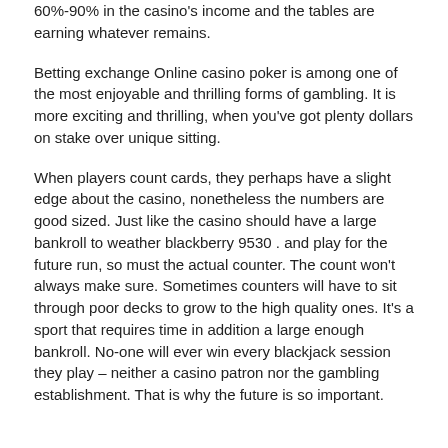60%-90% in the casino's income and the tables are earning whatever remains.
Betting exchange Online casino poker is among one of the most enjoyable and thrilling forms of gambling. It is more exciting and thrilling, when you've got plenty dollars on stake over unique sitting.
When players count cards, they perhaps have a slight edge about the casino, nonetheless the numbers are good sized. Just like the casino should have a large bankroll to weather blackberry 9530 . and play for the future run, so must the actual counter. The count won't always make sure. Sometimes counters will have to sit through poor decks to grow to the high quality ones. It's a sport that requires time in addition a large enough bankroll. No-one will ever win every blackjack session they play – neither a casino patron nor the gambling establishment. That is why the future is so important.